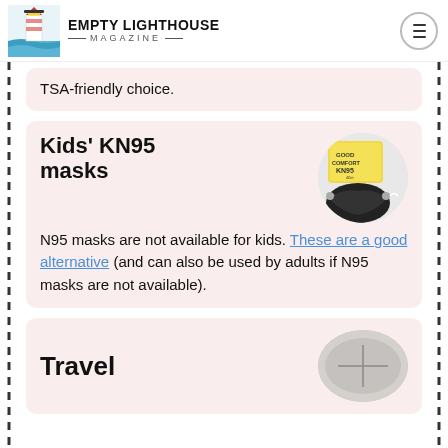EMPTY LIGHTHOUSE MAGAZINE
TSA-friendly choice.
Kids' KN95 masks
[Figure (photo): Product image of Kids' KN95 masks — yellow package labeled 'Good Comfort KN95' and a black KN95 mask, shown in a circular frame]
N95 masks are not available for kids. These are a good alternative (and can also be used by adults if N95 masks are not available).
Travel
[Figure (photo): Circular image of travel-related items, partially visible at bottom of page]